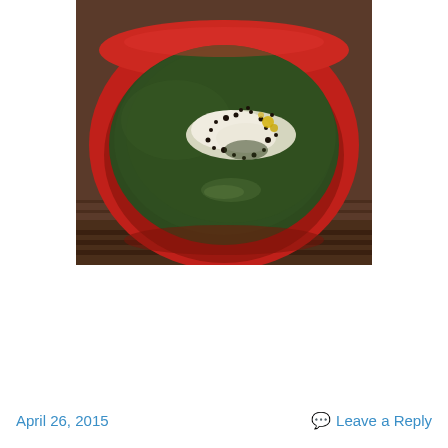[Figure (photo): A bowl of dark green soup (likely spinach or kale) in a red ceramic bowl, garnished with white cream/sour cream and black pepper seasoning, with yellow garnish visible, set on a striped surface.]
April 26, 2015
Leave a Reply